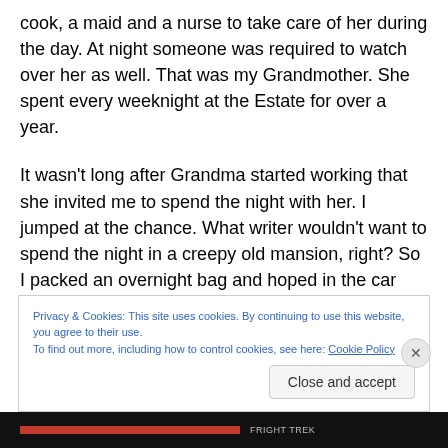cook, a maid and a nurse to take care of her during the day. At night someone was required to watch over her as well. That was my Grandmother. She spent every weeknight at the Estate for over a year.
It wasn't long after Grandma started working that she invited me to spend the night with her. I jumped at the chance. What writer wouldn't want to spend the night in a creepy old mansion, right? So I packed an overnight bag and hoped in the car with my Grandma. We drove to Marion Avenue in Mansfield. There was a long drive to the
Privacy & Cookies: This site uses cookies. By continuing to use this website, you agree to their use.
To find out more, including how to control cookies, see here: Cookie Policy
Close and accept